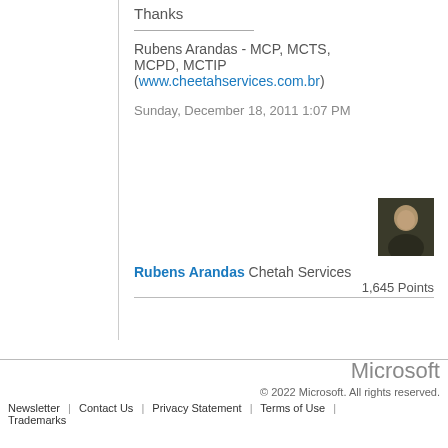Thanks
Rubens Arandas - MCP, MCTS, MCPD, MCTIP (www.cheetahservices.com.br)
Sunday, December 18, 2011 1:07 PM
[Figure (photo): Profile photo of Rubens Arandas]
Rubens Arandas Chetah Services 1,645 Points
Microsoft © 2022 Microsoft. All rights reserved. Newsletter | Contact Us | Privacy Statement | Terms of Use | Trademarks